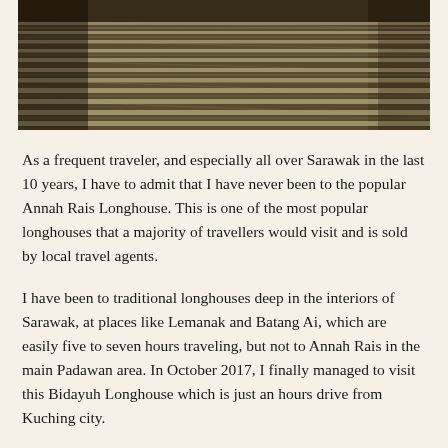[Figure (photo): Aerial or close-up view of rows of bamboo or wooden slats/poles laid out in parallel lines, creating a geometric pattern. The image is taken from above, showing the poles extending from left to right and receding into the distance.]
As a frequent traveler, and especially all over Sarawak in the last 10 years, I have to admit that I have never been to the popular Annah Rais Longhouse. This is one of the most popular longhouses that a majority of travellers would visit and is sold by local travel agents.
I have been to traditional longhouses deep in the interiors of Sarawak, at places like Lemanak and Batang Ai, which are easily five to seven hours traveling, but not to Annah Rais in the main Padawan area. In October 2017, I finally managed to visit this Bidayuh Longhouse which is just an hours drive from Kuching city.